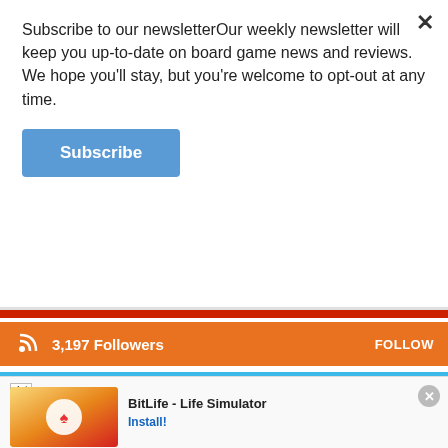Subscribe to our newsletterOur weekly newsletter will keep you up-to-date on board game news and reviews. We hope you'll stay, but you're welcome to opt-out at any time.
Subscribe
3,197  Followers  FOLLOW
10,518  Followers  FOLLOW
32  Subscribers  SUBSCRIBE
JOIN OUR FACEBOOK GROUP
Subscribe to our eNewsletter
BitLife - Life Simulator  Install!